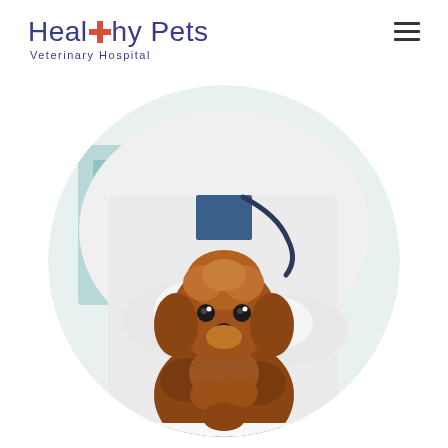[Figure (logo): Healthy Pets Veterinary Hospital logo with blue text, orange/red cross symbol replacing the letter 't', and tagline 'Veterinary Hospital' below]
[Figure (photo): A small fluffy brown/auburn toy poodle puppy being examined by a veterinarian in a white lab coat with white gloves and stethoscope around the neck. The puppy is seated on an exam table in a clinic with light blue/teal shelving in the background. The image is cropped in a circle.]